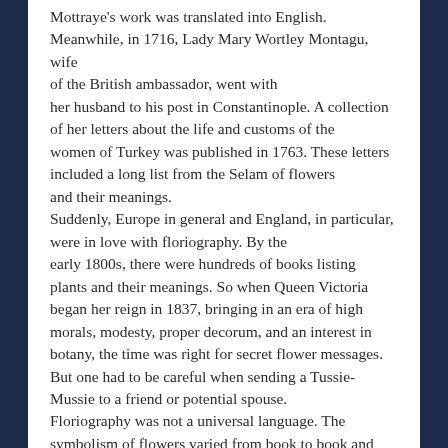Mottraye's work was translated into English. Meanwhile, in 1716, Lady Mary Wortley Montagu, wife of the British ambassador, went with her husband to his post in Constantinople. A collection of her letters about the life and customs of the women of Turkey was published in 1763. These letters included a long list from the Selam of flowers and their meanings. Suddenly, Europe in general and England, in particular, were in love with floriography. By the early 1800s, there were hundreds of books listing plants and their meanings. So when Queen Victoria began her reign in 1837, bringing in an era of high morals, modesty, proper decorum, and an interest in botany, the time was right for secret flower messages. But one had to be careful when sending a Tussie-Mussie to a friend or potential spouse. Floriography was not a universal language. The symbolism of flowers varied from book to book and